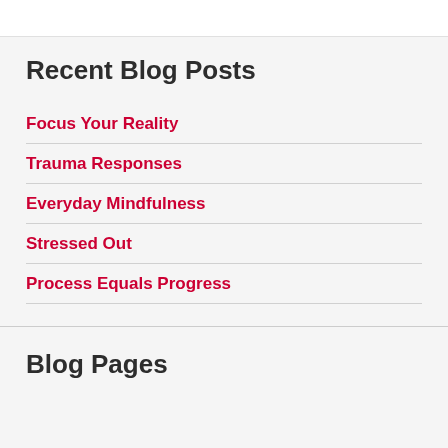Recent Blog Posts
Focus Your Reality
Trauma Responses
Everyday Mindfulness
Stressed Out
Process Equals Progress
Blog Pages